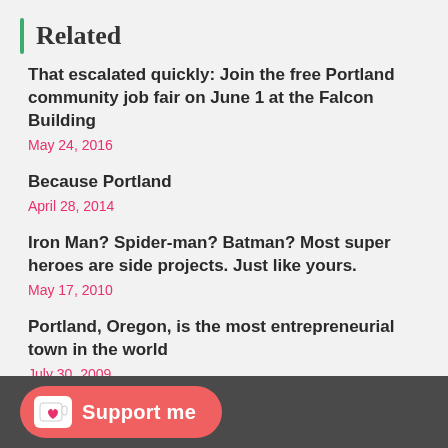Related
That escalated quickly: Join the free Portland community job fair on June 1 at the Falcon Building
May 24, 2016
Because Portland
April 28, 2014
Iron Man? Spider-man? Batman? Most super heroes are side projects. Just like yours.
May 17, 2010
Portland, Oregon, is the most entrepreneurial town in the world
July 30, 2009
Support me